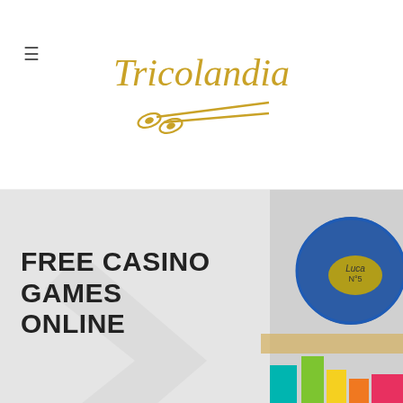Tricolandia (logo with scissors)
[Figure (photo): Hero banner with colorful yarn/thread balls and embroidery thread on right side, with a large decorative watermark arrow/chevron overlay, background is light gray]
FREE CASINO GAMES ONLINE
18 JUN FREE CASINO GAMES ONLINE
Posted at 02:48h in Sin categorizar by adminy2k • 0 Comments • 0 Likes
You've found the right place for those who want to play casino games without making a make a deposit. This article will show you how to play